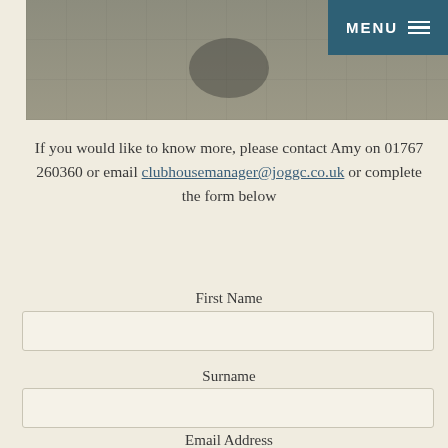[Figure (photo): Outdoor patio area with dark wicker chairs and a round table on stone tiles, photographed in daylight.]
If you would like to know more, please contact Amy on 01767 260360 or email clubhousemanager@joggc.co.uk or complete the form below
First Name
Surname
Email Address